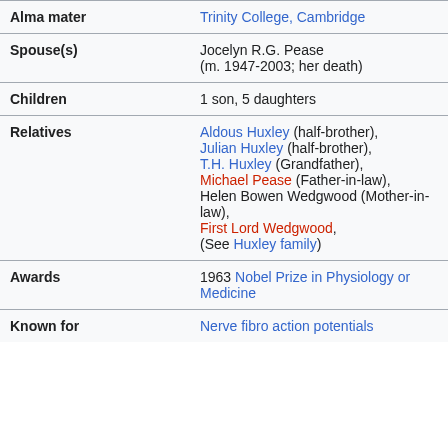| Field | Value |
| --- | --- |
| Alma mater | Trinity College, Cambridge |
| Spouse(s) | Jocelyn R.G. Pease
(m. 1947-2003; her death) |
| Children | 1 son, 5 daughters |
| Relatives | Aldous Huxley (half-brother), Julian Huxley (half-brother), T.H. Huxley (Grandfather), Michael Pease (Father-in-law), Helen Bowen Wedgwood (Mother-in-law), First Lord Wedgwood, (See Huxley family) |
| Awards | 1963 Nobel Prize in Physiology or Medicine |
| Known for | Nerve fibro action potentials |